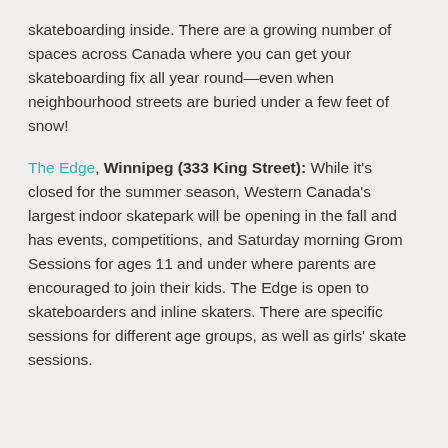skateboarding inside. There are a growing number of spaces across Canada where you can get your skateboarding fix all year round—even when neighbourhood streets are buried under a few feet of snow!
The Edge, Winnipeg (333 King Street): While it's closed for the summer season, Western Canada's largest indoor skatepark will be opening in the fall and has events, competitions, and Saturday morning Grom Sessions for ages 11 and under where parents are encouraged to join their kids. The Edge is open to skateboarders and inline skaters. There are specific sessions for different age groups, as well as girls' skate sessions.